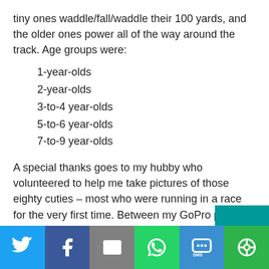tiny ones waddle/fall/waddle their 100 yards, and the older ones power all of the way around the track.  Age groups were:
1-year-olds
2-year-olds
3-to-4 year-olds
5-to-6 year-olds
7-to-9 year-olds
A special thanks goes to my hubby who volunteered to help me take pictures of those eighty cuties – most who were running in a race for the very first time.  Between my GoPro pictures and Bill's much better photos, we ended up shooting, editing, and keeping 173 to share with our chapter members.  All photo credits in today's post exc[cut off]
[Figure (infographic): Social share bar with icons for Twitter, Facebook, Email, WhatsApp, SMS, and More options]